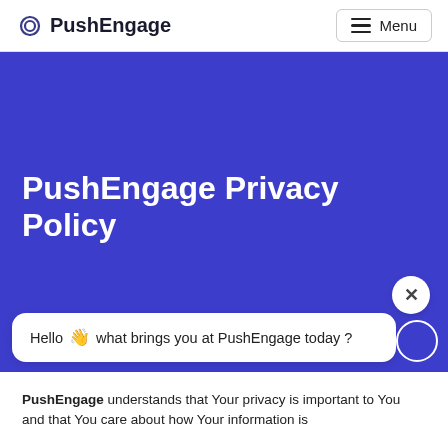PushEngage | Menu
PushEngage Privacy Policy
Hello 👋 what brings you at PushEngage today ?
PushEngage understands that Your privacy is important to You and that You care about how Your information is